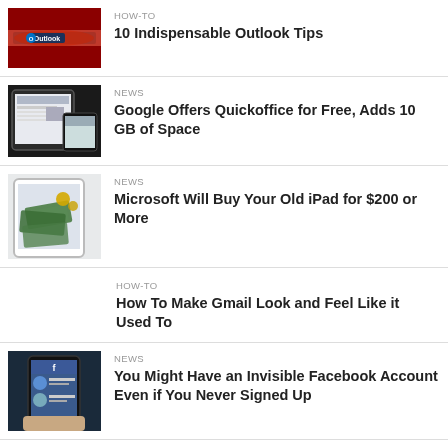[Figure (photo): Red swiss army knife with Outlook logo on blade]
HOW-TO
10 Indispensable Outlook Tips
[Figure (photo): Tablet and phone showing news website]
NEWS
Google Offers Quickoffice for Free, Adds 10 GB of Space
[Figure (photo): iPad with money bills falling out]
NEWS
Microsoft Will Buy Your Old iPad for $200 or More
HOW-TO
How To Make Gmail Look and Feel Like it Used To
[Figure (photo): Hand holding smartphone showing Facebook app]
NEWS
You Might Have an Invisible Facebook Account Even if You Never Signed Up